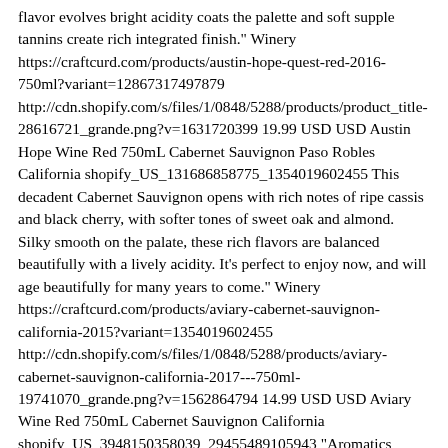flavor evolves bright acidity coats the palette and soft supple tannins create rich integrated finish." Winery https://craftcurd.com/products/austin-hope-quest-red-2016-750ml?variant=12867317497879 http://cdn.shopify.com/s/files/1/0848/5288/products/product_title-28616721_grande.png?v=1631720399 19.99 USD USD Austin Hope Wine Red 750mL Cabernet Sauvignon Paso Robles California shopify_US_131686858775_1354019602455 This decadent Cabernet Sauvignon opens with rich notes of ripe cassis and black cherry, with softer tones of sweet oak and almond. Silky smooth on the palate, these rich flavors are balanced beautifully with a lively acidity. It’s perfect to enjoy now, and will age beautifully for many years to come." Winery https://craftcurd.com/products/aviary-cabernet-sauvignon-california-2015?variant=1354019602455 http://cdn.shopify.com/s/files/1/0848/5288/products/aviary-cabernet-sauvignon-california-2017---750ml-19741070_grande.png?v=1562864794 14.99 USD USD Aviary Wine Red 750mL Cabernet Sauvignon California shopify_US_3948150358039_29455489105943 "Aromatics evolve with a mélange of mixed berry notes laced with spice, cigar box and dusty mocha. On the palate we note concentrated crème de cassis that evolves into complex dark fruit characters of blackberry and currant. The midpalate shows some classic Cabernet earth tones of leather and dried herb. Oak spices such as nutmeg,